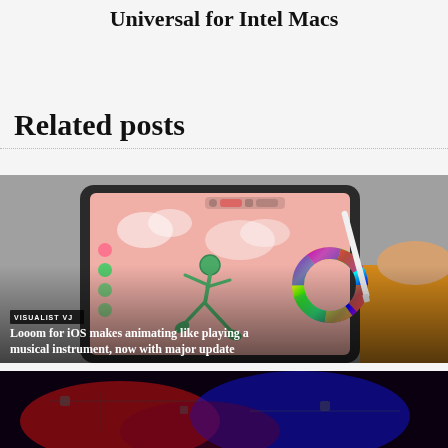Universal for Intel Macs
Related posts
[Figure (photo): iPad with Looom animation app open showing a stick figure dancing on a pink background, with an Apple Pencil held by a hand in the foreground]
VISUALIST VJ
Looom for iOS makes animating like playing a musical instrument, now with major update
[Figure (photo): Dark image with red and blue lighting, bottom of page card]